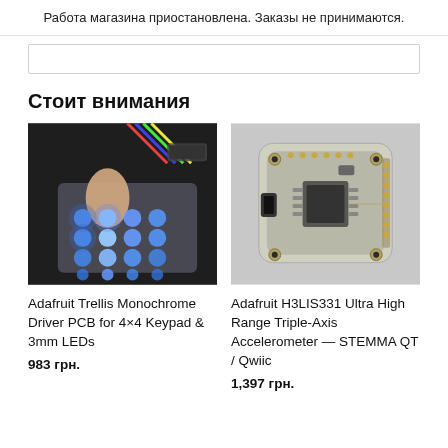Работа магазина приостановлена. Заказы не принимаются.
[Figure (other): Empty search/input box area]
Стоит внимания
[Figure (photo): Photo of Adafruit Trellis Monochrome Driver PCB with 4x4 keypad lighting blue LEDs, finger pressing one button]
Adafruit Trellis Monochrome Driver PCB for 4×4 Keypad & 3mm LEDs
983 грн.
[Figure (photo): Photo of Adafruit H3LIS331 Ultra High Range Triple-Axis Accelerometer STEMMA QT / Qwiic circuit board on white background]
Adafruit H3LIS331 Ultra High Range Triple-Axis Accelerometer — STEMMA QT / Qwiic
1,397 грн.